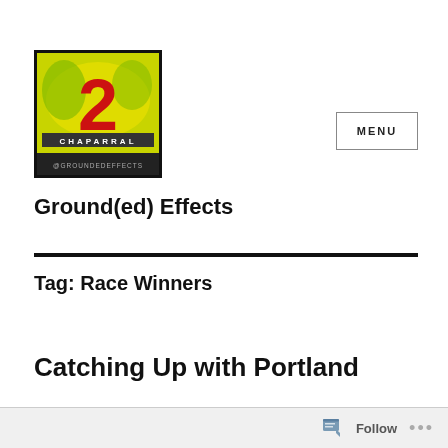[Figure (logo): Ground(ed) Effects blog logo featuring a yellow racing car with number 2 and 'Chaparral' text, green background, with '@groundedeffects' text at bottom]
Ground(ed) Effects
Tag: Race Winners
Catching Up with Portland
Follow ...